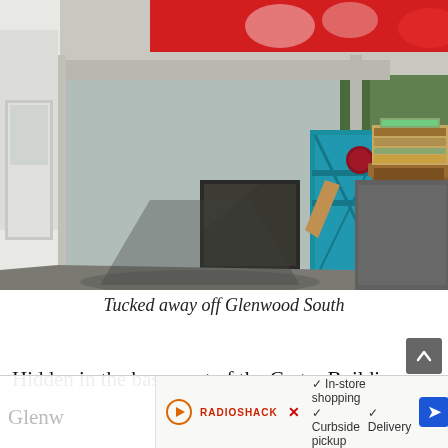[Figure (photo): Exterior photo of a building entrance tucked away off Glenwood South. Shows a concrete overhang with a red banner at top, a teal/blue door, white brick walls, and a wooden cabinet/dresser with stacked items sitting outside on a concrete walkway.]
Tucked away off Glenwood South
Hidden in the basement of the Carter Building on Glenwood...ords